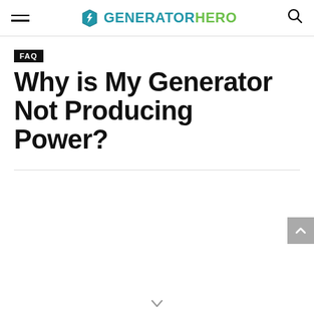GENERATOR HERO
FAQ
Why is My Generator Not Producing Power?